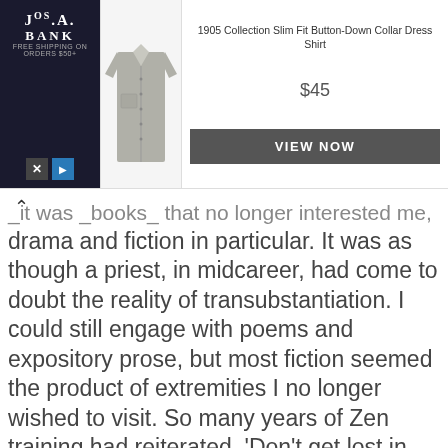[Figure (screenshot): Jos. A. Bank advertisement banner showing a grey dress shirt. Product title: '1905 Collection Slim Fit Button-Down Collar Dress Shirt', price $45, with a 'VIEW NOW' button. Left side has Jos. A. Bank logo on dark background with 'FREE SHIPPING ON ORDERS $50+'. Bottom left has close and play icons.]
It was _books_ that no longer interested me, drama and fiction in particular. It was as though a priest, in midcareer, had come to doubt the reality of transubstantiation. I could still engage with poems and expository prose, but most fiction seemed the product of extremities I no longer wished to visit. So many years of Zen training had reiterated, 'Don't get lost in the drama of life,' and here I had to stand around in a classroom defending Oedipus. — Mary Rose O'Reilley